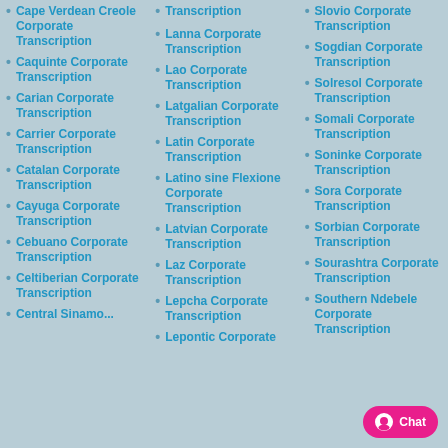Cape Verdean Creole Corporate Transcription
Caquinte Corporate Transcription
Carian Corporate Transcription
Carrier Corporate Transcription
Catalan Corporate Transcription
Cayuga Corporate Transcription
Cebuano Corporate Transcription
Celtiberian Corporate Transcription
Central Sinamo...
Transcription
Lanna Corporate Transcription
Lao Corporate Transcription
Latgalian Corporate Transcription
Latin Corporate Transcription
Latino sine Flexione Corporate Transcription
Latvian Corporate Transcription
Laz Corporate Transcription
Lepcha Corporate Transcription
Lepontic Corporate
Slovio Corporate Transcription
Sogdian Corporate Transcription
Solresol Corporate Transcription
Somali Corporate Transcription
Soninke Corporate Transcription
Sora Corporate Transcription
Sorbian Corporate Transcription
Sourashtra Corporate Transcription
Southern Ndebele Corporate Transcription